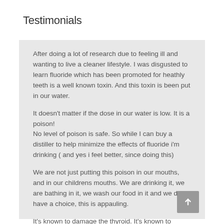Testimonials
After doing a lot of research due to feeling ill and wanting to live a cleaner lifestyle.  I was disgusted to learn fluoride which has been promoted for heathly teeth is a well known toxin. And this toxin is been put in our water.
It doesn't matter if the dose in our water is low. It is a poison!
No level of poison is safe.  So while I can buy a distiller to help minimize the effects of fluoride i'm drinking ( and yes i feel better, since doing this)
We are not just putting this poison in our mouths, and in our childrens mouths.  We are drinking it, we are bathing in it, we wash our food in it and we don't have a choice, this is appauling.
It's known to damage the thyroid. It's known to damage bones.